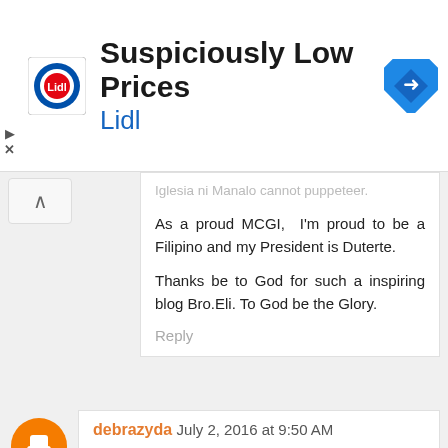[Figure (logo): Lidl advertisement banner with Lidl logo, text 'Suspiciously Low Prices' and 'Lidl', and a blue navigation/direction icon on the right]
Iglesia ni Manalo cannot puppeteer.
As a proud MCGI,  I'm proud to be a Filipino and my President is Duterte.
Thanks be to God for such a inspiring blog Bro.Eli. To God be the Glory.
Reply
debrazyda July 2, 2016 at 9:50 AM
This is really touching. Salamat sa Dios!
Reply
randzgonz02 July 2, 2016 at 10:03 AM
May God protect our President all the time.